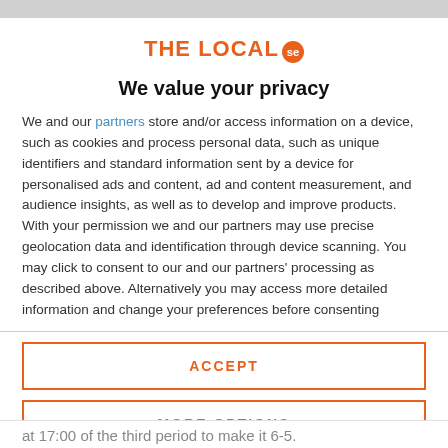[Figure (logo): The Local SE logo with orange text and orange circular badge with 'se']
We value your privacy
We and our partners store and/or access information on a device, such as cookies and process personal data, such as unique identifiers and standard information sent by a device for personalised ads and content, ad and content measurement, and audience insights, as well as to develop and improve products. With your permission we and our partners may use precise geolocation data and identification through device scanning. You may click to consent to our and our partners' processing as described above. Alternatively you may access more detailed information and change your preferences before consenting
ACCEPT
MORE OPTIONS
at 17:00 of the third period to make it 6-5.